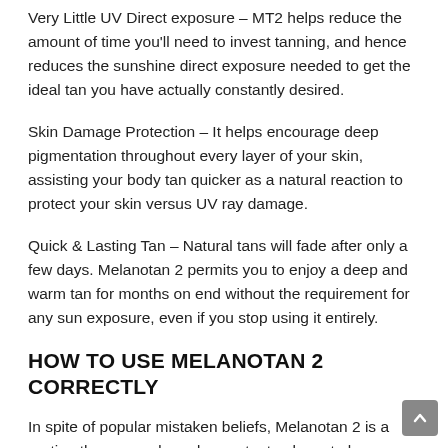Very Little UV Direct exposure – MT2 helps reduce the amount of time you'll need to invest tanning, and hence reduces the sunshine direct exposure needed to get the ideal tan you have actually constantly desired.
Skin Damage Protection – It helps encourage deep pigmentation throughout every layer of your skin, assisting your body tan quicker as a natural reaction to protect your skin versus UV ray damage.
Quick & Lasting Tan – Natural tans will fade after only a few days. Melanotan 2 permits you to enjoy a deep and warm tan for months on end without the requirement for any sun exposure, even if you stop using it entirely.
HOW TO USE MELANOTAN 2 CORRECTLY
In spite of popular mistaken beliefs, Melanotan 2 is a routine therapy and needs constant upkeep to be effective, even after